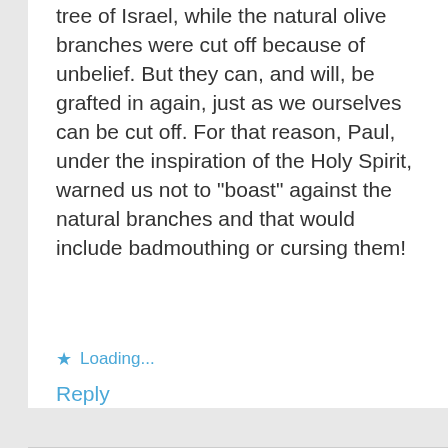tree of Israel, while the natural olive branches were cut off because of unbelief. But they can, and will, be grafted in again, just as we ourselves can be cut off. For that reason, Paul, under the inspiration of the Holy Spirit, warned us not to "boast" against the natural branches and that would include badmouthing or cursing them!
Loading...
Reply